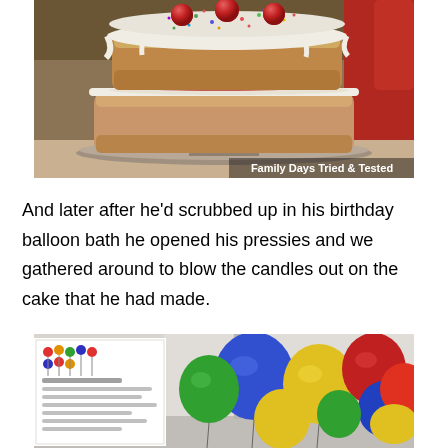[Figure (photo): A two-layer birthday cake with white icing, red cherries and colorful sprinkles on top, sitting on a silver cake stand. A red-shirted person is partially visible in the background. Watermark reads 'Family Days Tried & Tested'.]
And later after he'd scrubbed up in his birthday balloon bath he opened his pressies and we gathered around to blow the candles out on the cake that he had made.
[Figure (photo): A collection of colorful balloons (blue, yellow, red, green) arranged in a room, with a birthday party sign visible on the left.]